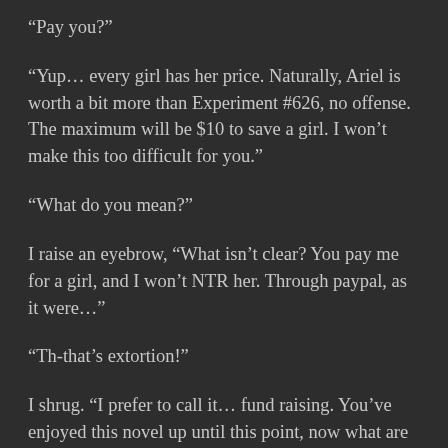“Pay you?”
“Yup… every girl has her price. Naturally, Ariel is worth a bit more than Experiment #626, no offense. The maximum will be $10 to save a girl. I won’t make this too difficult for you.”
“What do you mean?”
I raise an eyebrow, “What isn’t clear? You pay me for a girl, and I won’t NTR her. Through paypal, as it were…”
“Th-that’s extortion!”
I shrug. “I prefer to call it… fund raising. You’ve enjoyed this novel up until this point, now what are you willing to pay for your happy ending?”
“You’re saying you won’t NTR anyone I pay for?”
I nod. “I’m a Demon God! Would I lie?”
“What if I pay for every girl?”